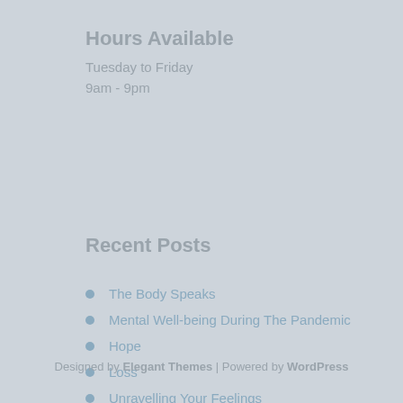Hours Available
Tuesday to Friday
9am - 9pm
Recent Posts
The Body Speaks
Mental Well-being During The Pandemic
Hope
Loss
Unravelling Your Feelings
Designed by Elegant Themes | Powered by WordPress